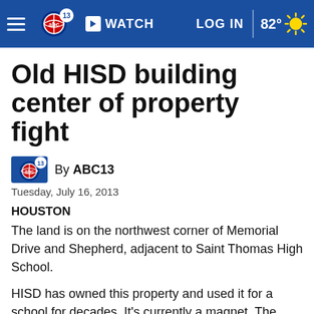abc13 | WATCH | LOG IN | 82°
Old HISD building center of property fight
By ABC13
Tuesday, July 16, 2013
HOUSTON
The land is on the northwest corner of Memorial Drive and Shepherd, adjacent to Saint Thomas High School.
HISD has owned this property and used it for a school for decades. It's currently a magnet, The High School for Law Enforcement And Criminal Justice. With plans to relocate and sell the land, both its adjoining neighbors want it.